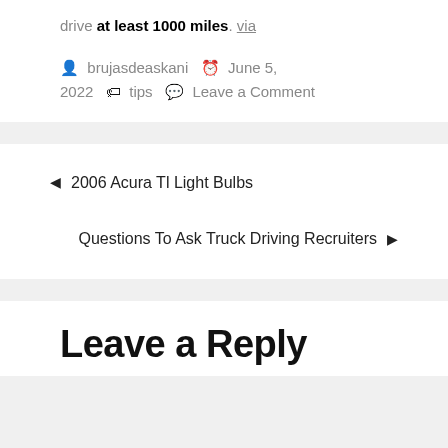drive at least 1000 miles. via
brujasdeaskani  June 5, 2022  tips  Leave a Comment
2006 Acura Tl Light Bulbs
Questions To Ask Truck Driving Recruiters
Leave a Reply